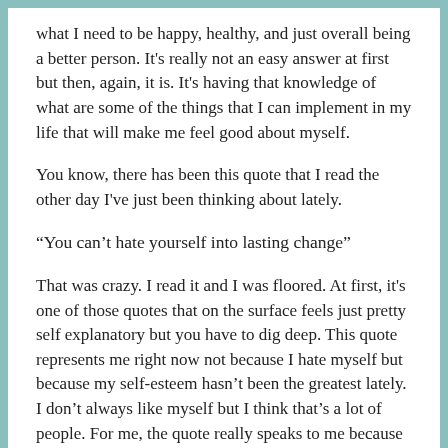what I need to be happy, healthy, and just overall being a better person. It's really not an easy answer at first but then, again, it is. It's having that knowledge of what are some of the things that I can implement in my life that will make me feel good about myself.
You know, there has been this quote that I read the other day I've just been thinking about lately.
“You can’t hate yourself into lasting change”
That was crazy. I read it and I was floored. At first, it's one of those quotes that on the surface feels just pretty self explanatory but you have to dig deep. This quote represents me right now not because I hate myself but because my self-esteem hasn’t been the greatest lately. I don’t always like myself but I think that’s a lot of people. For me, the quote really speaks to me because as I try to